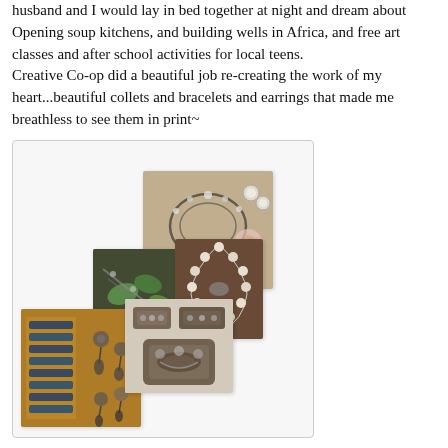husband and I would lay in bed together at night and dream about Opening soup kitchens, and building wells in Africa, and free art classes and after school activities for local teens.
Creative Co-op did a beautiful job re-creating the work of my heart...beautiful collets and bracelets and earrings that made me breathless to see them in print~
[Figure (photo): A collage of overlapping photographs showing handcrafted jewelry including necklaces, bracelets, earrings, and a display drawer with beaded jewelry items.]